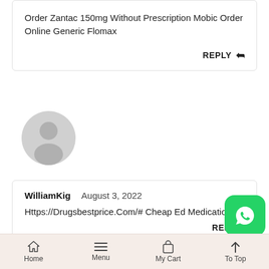Order Zantac 150mg Without Prescription Mobic Order Online Generic Flomax
REPLY
[Figure (illustration): Generic user avatar - grey circle with person silhouette]
WilliamKig  August 3, 2022
Https://Drugsbestprice.Com/# Cheap Ed Medication
REPLY
[Figure (logo): WhatsApp green icon button]
Home  Menu  My Cart  To Top